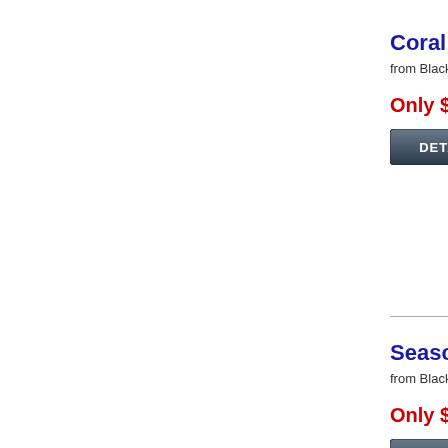Coral Fire
from Black-Owned
Only $59.9
[Figure (other): DETAILS button with dark gradient background]
Seascape
from Black-Owned
Only $59.9
[Figure (other): DETAILS button with dark gradient background]